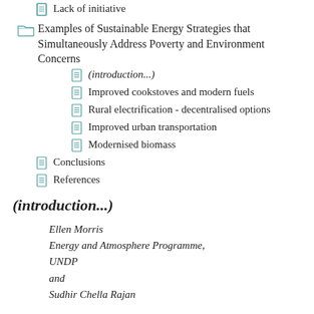Lack of initiative
Examples of Sustainable Energy Strategies that Simultaneously Address Poverty and Environment Concerns
(introduction...)
Improved cookstoves and modern fuels
Rural electrification - decentralised options
Improved urban transportation
Modernised biomass
Conclusions
References
(introduction...)
Ellen Morris
Energy and Atmosphere Programme,
UNDP
and
Sudhir Chella Rajan